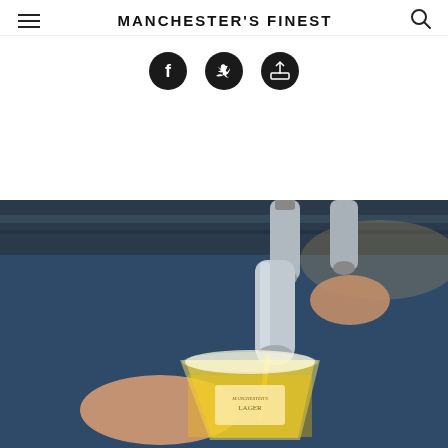MANCHESTER'S FINEST
[Figure (other): Social sharing icons: Facebook, Twitter, and a share/upload icon, displayed as dark circular buttons]
[Figure (photo): Close-up photo of a beer tap pouring lager into a branded Manchester Lager glass, with hands visible operating the tap]